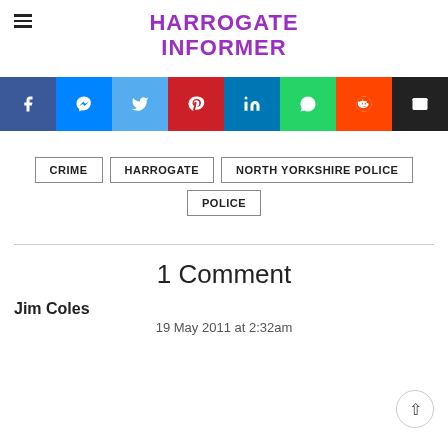HARROGATE INFORMER
[Figure (infographic): Social sharing buttons: Facebook, Messenger, Twitter, Pinterest, LinkedIn, WhatsApp, Reddit, Email]
CRIME
HARROGATE
NORTH YORKSHIRE POLICE
POLICE
1 Comment
Jim Coles
19 May 2011 at 2:32am